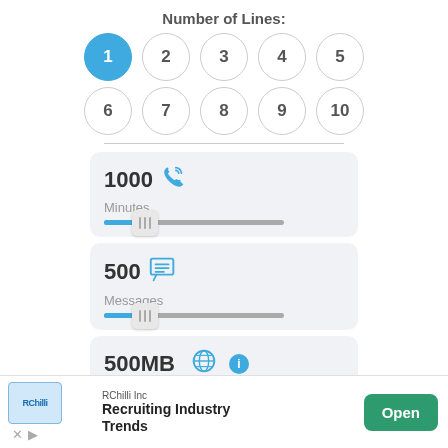Number of Lines:
[Figure (infographic): Number selector with 10 numbered circles (1-10 in two rows). Circle 1 is selected/highlighted in blue.]
[Figure (infographic): 1000 minutes card with phone icon and a slider control showing position near the left.]
[Figure (infographic): 500 messages card with chat/message icon and a slider control showing position near the left.]
[Figure (infographic): 500MB data card with globe icon and info circle icon, partially visible.]
[Figure (infographic): Advertisement banner at bottom: RChilli Inc - Recruiting Industry Trends, with Open button.]